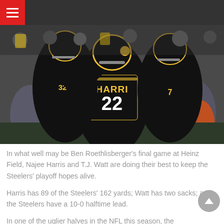[Figure (photo): Pittsburgh Steelers players celebrating on the field. Player #22 HARRIS (Najee Harris) in black and yellow jersey is embraced by teammates.]
In what well may be Ben Roethlisberger's final game at Heinz Field, Najee Harris and T.J. Watt are doing their best to keep the Steelers' playoff hopes alive.
Harris has 89 of the Steelers' 162 yards; Watt has two sacks; and the Steelers have a 10-0 halftime lead.
In one of the uglier halves in the NFL this season, the